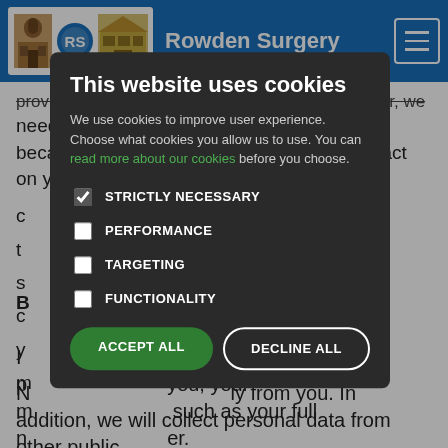[Figure (screenshot): Rowden Surgery website header with logo (two building images and RS circle logo), site title 'Rowden Surgery' in white on blue background, and hamburger menu icon]
providing the services to said customers. However, we need to process your personal data either because the services provided have an impact on you (e.g., the c... ...e the radiation t... ...onal training s... ...se we have to c... ...processing of y... ...bligation of m...
This website uses cookies
We use cookies to improve user experience. Choose what cookies you allow us to use. You can read more about our cookies before you choose.
STRICTLY NECESSARY (checked)
PERFORMANCE
TARGETING
FUNCTIONALITY
ACCEPT ALL   DECLINE ALL
N... ...ly from you. In addition, we will collect personal data from other public